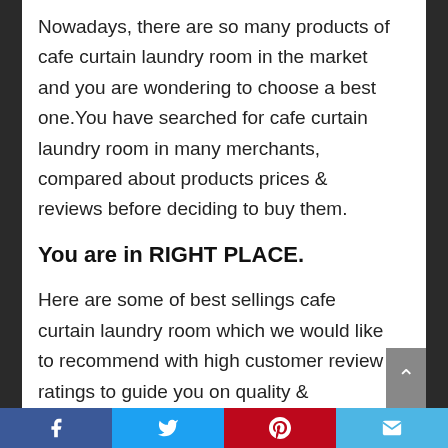Nowadays, there are so many products of cafe curtain laundry room in the market and you are wondering to choose a best one.You have searched for cafe curtain laundry room in many merchants, compared about products prices & reviews before deciding to buy them.
You are in RIGHT PLACE.
Here are some of best sellings cafe curtain laundry room which we would like to recommend with high customer review ratings to guide you on quality & popularity of each items.